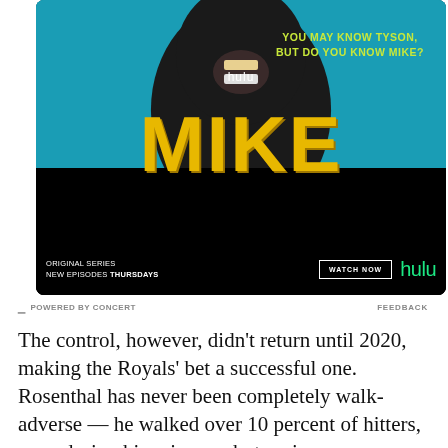[Figure (photo): Hulu advertisement for the original series 'MIKE' featuring a close-up of a person with gold teeth against a teal background. Text reads 'YOU MAY KNOW TYSON, BUT DO YOU KNOW MIKE?' with hulu branding. Bottom bar shows 'ORIGINAL SERIES NEW EPISODES THURSDAYS' with WATCH NOW button and green hulu logo.]
POWERED BY CONCERT   FEEDBACK
The control, however, didn't return until 2020, making the Royals' bet a successful one. Rosenthal has never been completely walk-adverse — he walked over 10 percent of hitters, even during his prime — but seeing his command completely stray from 33.3 percent